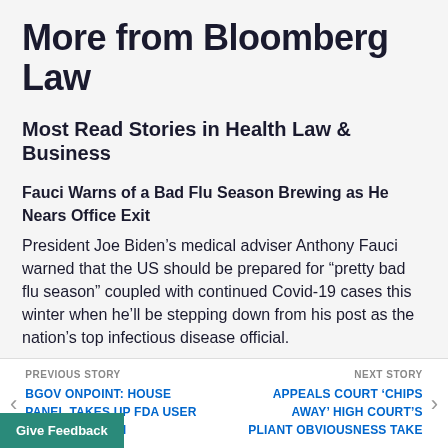More from Bloomberg Law
Most Read Stories in Health Law & Business
Fauci Warns of a Bad Flu Season Brewing as He Nears Office Exit
President Joe Biden’s medical adviser Anthony Fauci warned that the US should be prepared for “pretty bad flu season” coupled with continued Covid-19 cases this winter when he’ll be stepping down from his post as the nation’s top infectious disease official.
PREVIOUS STORY
BGOV ONPOINT: HOUSE PANEL TAKES UP FDA USER AUTHORIZATION
NEXT STORY
APPEALS COURT ‘CHIPS AWAY’ HIGH COURT’S PLIANT OBVIOUSNESS TAKE